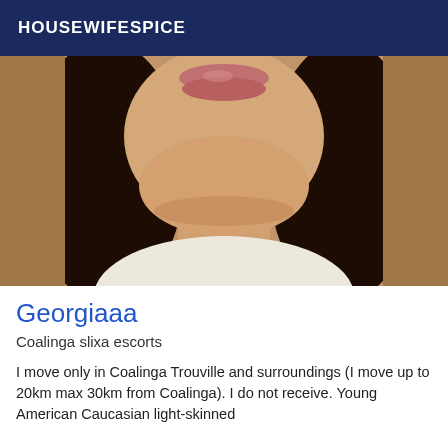HOUSEWIFESPICE
[Figure (photo): Close-up selfie photo of a young woman with long dark hair, light skin, wearing a white t-shirt, showing neck and lower face area]
Georgiaaa
Coalinga slixa escorts
I move only in Coalinga Trouville and surroundings (I move up to 20km max 30km from Coalinga). I do not receive. Young American Caucasian light-skinned